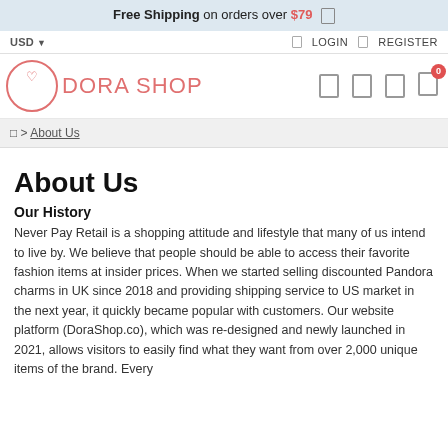Free Shipping on orders over $79 [box icon]
USD  |  LOGIN  |  REGISTER
[Figure (logo): Dora Shop logo with pink circle and heart icon]
breadcrumb: > About Us
About Us
Our History
Never Pay Retail is a shopping attitude and lifestyle that many of us intend to live by. We believe that people should be able to access their favorite fashion items at insider prices. When we started selling discounted Pandora charms in UK since 2018 and providing shipping service to US market in the next year, it quickly became popular with customers. Our website platform (DoraShop.co), which was re-designed and newly launched in 2021, allows visitors to easily find what they want from over 2,000 unique items of the brand. Every